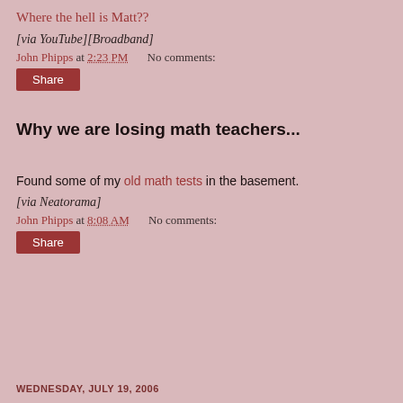Where the hell is Matt??
[via YouTube][Broadband]
John Phipps at 2:23 PM   No comments:
Share
Why we are losing math teachers...
Found some of my old math tests in the basement.
[via Neatorama]
John Phipps at 8:08 AM   No comments:
Share
WEDNESDAY, JULY 19, 2006